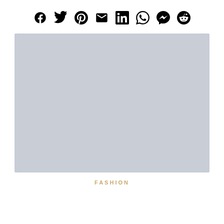[Figure (infographic): Row of social media share icons: Facebook, Twitter, Pinterest, Email, LinkedIn, WhatsApp, Messenger, Reddit]
[Figure (photo): Large light blue-gray placeholder image rectangle]
FASHION